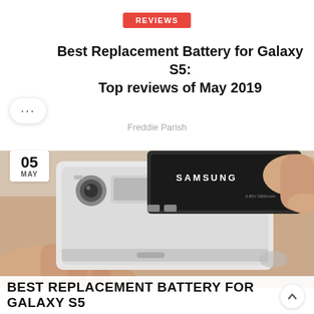REVIEWS
Best Replacement Battery for Galaxy S5: Top reviews of May 2019
Freddie Parish
[Figure (photo): Hands holding a Samsung Galaxy S5 smartphone with the back cover removed, showing a Samsung replacement battery being lifted out of the device.]
BEST REPLACEMENT BATTERY FOR GALAXY S5